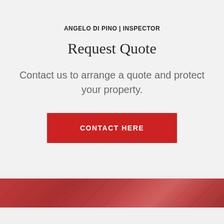ANGELO DI PINO | INSPECTOR
Request Quote
Contact us to arrange a quote and protect your property.
CONTACT HERE
[Figure (photo): Red decorative banner with diagonal texture/pattern at the bottom of the page]